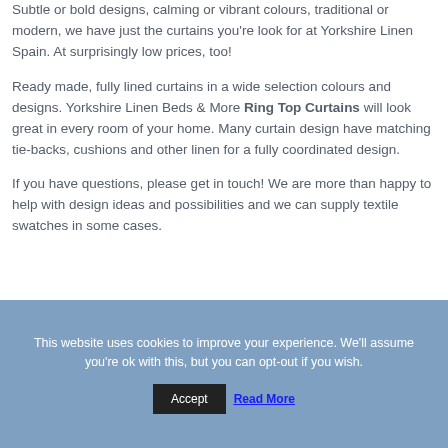Subtle or bold designs, calming or vibrant colours, traditional or modern, we have just the curtains you're look for at Yorkshire Linen Spain.  At surprisingly low prices, too!
Ready made, fully lined curtains in a wide selection colours and designs.  Yorkshire Linen Beds & More Ring Top Curtains will look great in every room of your home.  Many curtain design have matching tie-backs, cushions and other linen for a fully coordinated design.
If you have questions, please get in touch!  We are more than happy to help with design ideas and possibilities and we can supply textile swatches in some cases.
This website uses cookies to improve your experience. We'll assume you're ok with this, but you can opt-out if you wish.